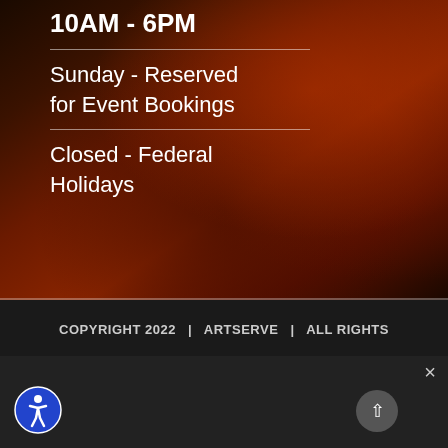10AM - 6PM
Sunday - Reserved for Event Bookings
Closed - Federal Holidays
[Figure (illustration): Dark reddish artistic background with abstract painted imagery]
COPYRIGHT 2022 | ARTSERVE | ALL RIGHTS
We use cookies to ensure that we give you the best experience on our website. If you continue to use this site we will assume that you are happy with it.